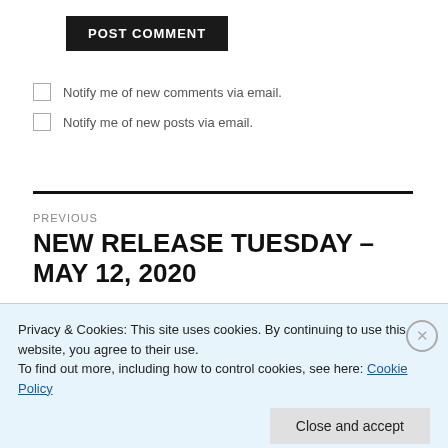POST COMMENT
Notify me of new comments via email.
Notify me of new posts via email.
PREVIOUS
NEW RELEASE TUESDAY – MAY 12, 2020
Privacy & Cookies: This site uses cookies. By continuing to use this website, you agree to their use.
To find out more, including how to control cookies, see here: Cookie Policy
Close and accept